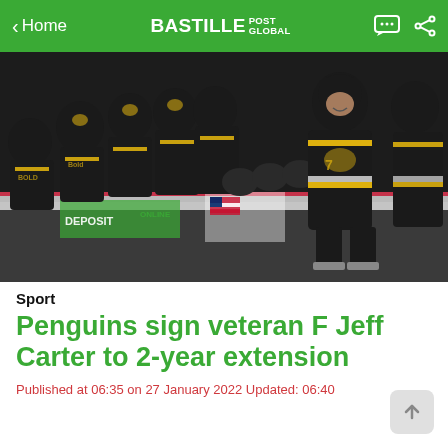< Home  BASTILLE POST GLOBAL
[Figure (photo): Pittsburgh Penguins hockey players in black and gold jerseys celebrating along the bench, fist-bumping teammates, with arena boards visible in the background showing a sponsor logo.]
Sport
Penguins sign veteran F Jeff Carter to 2-year extension
Published at 06:35 on 27 January 2022 Updated: 06:40